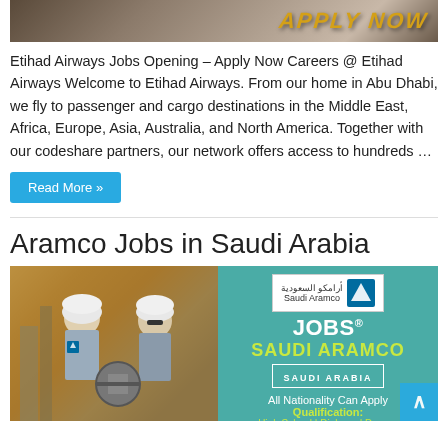[Figure (photo): Etihad Airways 'Apply Now' banner image with stylized text on a dark/warm background]
Etihad Airways Jobs Opening – Apply Now Careers @ Etihad Airways Welcome to Etihad Airways. From our home in Abu Dhabi, we fly to passenger and cargo destinations in the Middle East, Africa, Europe, Asia, Australia, and North America. Together with our codeshare partners, our network offers access to hundreds …
Read More »
Aramco Jobs in Saudi Arabia
[Figure (photo): Saudi Aramco jobs advertisement banner showing two workers in hard hats on left, and on the right: Saudi Aramco logo, JOBS@ SAUDI ARAMCO, SAUDI ARABIA box, All Nationality Can Apply, Qualification: High School | Diploma | Degree]